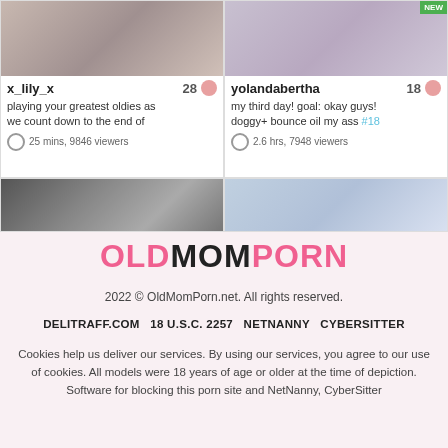[Figure (screenshot): Two streaming webcam cards at top. Left card: username x_lily_x, age 28, description 'playing your greatest oldies as we count down to the end of', 25 mins, 9846 viewers. Right card: username yolandabertha, age 18, description 'my third day! goal: okay guys! doggy+ bounce oil my ass #18', 2.6 hrs, 7948 viewers. Below: two more partial card thumbnails.]
OLDMOMPORN
2022 © OldMomPorn.net. All rights reserved.
DELITRAFF.COM   18 U.S.C. 2257   NETNANNY   CYBERSITTER
Cookies help us deliver our services. By using our services, you agree to our use of cookies. All models were 18 years of age or older at the time of depiction. Software for blocking this porn site and NetNanny, CyberSitter